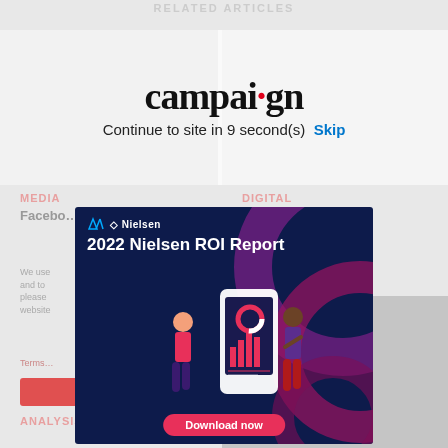RELATED ARTICLES
[Figure (screenshot): Campaign magazine countdown overlay: logo 'campaign' with red dot over i, text 'Continue to site in 9 second(s)' and blue 'Skip' link, over two article thumbnails]
MEDIA
DIGITAL
Facebo...
...3 ...ing in US.
We use... and to... please... website...
Terms...
[Figure (screenshot): Nielsen 2022 ROI Report advertisement popup with dark navy background, purple/magenta decorative arcs, Nielsen logo, title '2022 Nielsen ROI Report', illustrated characters with smartphone showing charts, and 'Download now' button in pink/red]